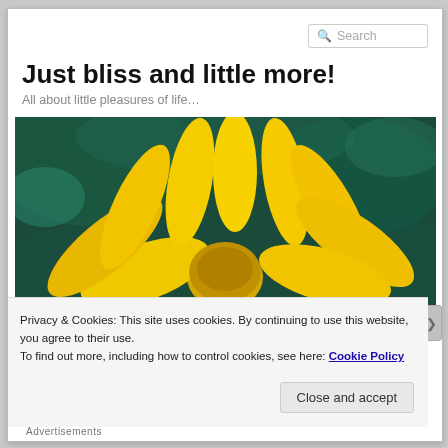Search
Just bliss and little more!
All about little pleasures of life…
[Figure (photo): Close-up macro photo of a yellow flower with multiple petals against a dark green blurred background]
Privacy & Cookies: This site uses cookies. By continuing to use this website, you agree to their use.
To find out more, including how to control cookies, see here: Cookie Policy
Close and accept
Advertisements